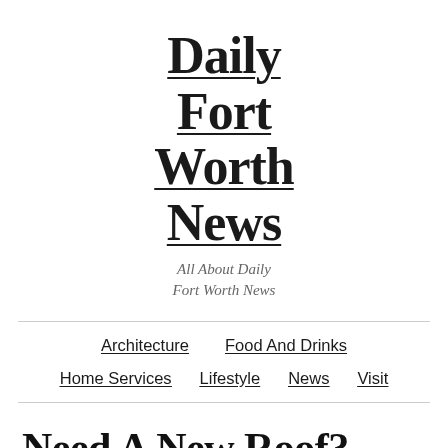Daily Fort Worth News
All About Daily Fort Worth News
Architecture | Food And Drinks | Home Services | Lifestyle | News | Visit
Need A New Roof? Find Great